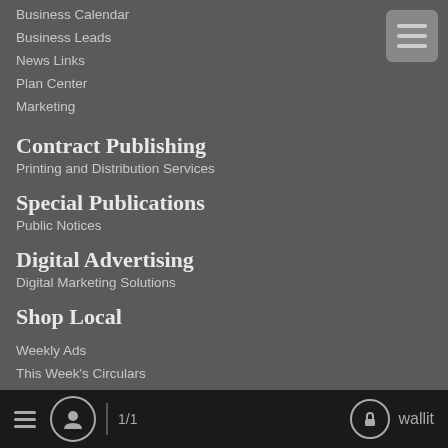Business Calendar
Business Leads
News Links
Plan Center
Marketing
Contract Publishing
Printing and Distribution Services
Special Publications
Public Notices
Digital Advertising
Digital Marketing Solutions
Shop Local
Weekly Ads
This Week's Circulars
1/1  wallit